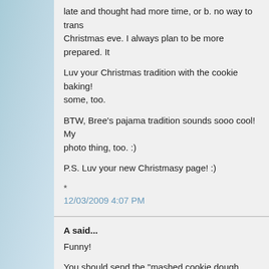late and thought had more time, or b. no way to trans Christmas eve. I always plan to be more prepared. It
Luv your Christmas tradition with the cookie baking! some, too.
BTW, Bree's pajama tradition sounds sooo cool! My photo thing, too. :)
P.S. Luv your new Christmasy page! :)
*
12/03/2009 4:07 PM
A said...
Funny!
You should send the "mashed cookie dough taters" s (rd.com)....they'll pay you for it! :)
12/04/2009 3:12 PM